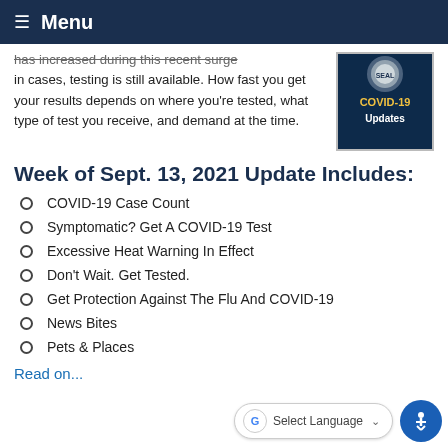Menu
has increased during this recent surge in cases, testing is still available. How fast you get your results depends on where you're tested, what type of test you receive, and demand at the time.
[Figure (photo): COVID-19 Updates image with county seal on dark blue background]
Week of Sept. 13, 2021 Update Includes:
COVID-19 Case Count
Symptomatic? Get A COVID-19 Test
Excessive Heat Warning In Effect
Don't Wait. Get Tested.
Get Protection Against The Flu And COVID-19
News Bites
Pets & Places
Read on...